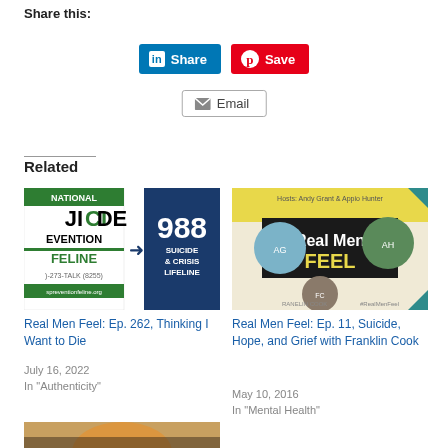Share this:
[Figure (screenshot): LinkedIn Share button (blue), Pinterest Save button (red), and Email button]
Related
[Figure (photo): National Suicide Prevention Lifeline logo with 988 Suicide & Crisis Lifeline graphic]
Real Men Feel: Ep. 262, Thinking I Want to Die
July 16, 2022
In "Authenticity"
[Figure (photo): Real Men Feel podcast artwork with hosts Andy Grant & Appio Hunter and Franklin Cook]
Real Men Feel: Ep. 11, Suicide, Hope, and Grief with Franklin Cook
May 10, 2016
In "Mental Health"
[Figure (photo): Sunset photo of people by roadside]